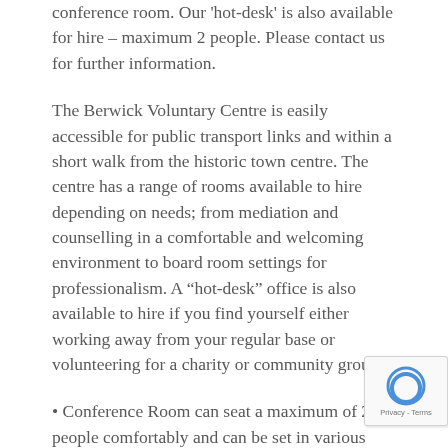conference room. Our 'hot-desk' is also available for hire – maximum 2 people. Please contact us for further information.
The Berwick Voluntary Centre is easily accessible for public transport links and within a short walk from the historic town centre. The centre has a range of rooms available to hire depending on needs; from mediation and counselling in a comfortable and welcoming environment to board room settings for professionalism. A "hot-desk" office is also available to hire if you find yourself either working away from your regular base or volunteering for a charity or community group.
• Conference Room can seat a maximum of 25 people comfortably and can be set in various configurations – cafe style, boardroom, and cinema